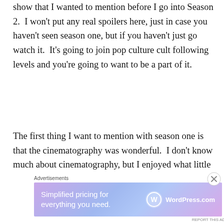show that I wanted to mention before I go into Season 2.  I won't put any real spoilers here, just in case you haven't seen season one, but if you haven't just go watch it.  It's going to join pop culture cult following levels and you're going to want to be a part of it.
The first thing I want to mention with season one is that the cinematography was wonderful.  I don't know much about cinematography, but I enjoyed what little
[Figure (other): WordPress.com advertisement banner with gradient purple-blue background, text 'Simplified pricing for everything you need.' and WordPress.com logo on the right]